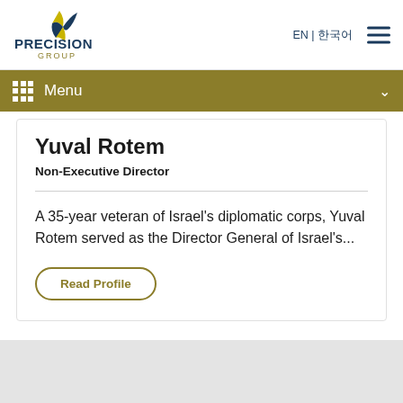Precision Group | EN | 한국어 | Menu
Yuval Rotem
Non-Executive Director
A 35-year veteran of Israel's diplomatic corps, Yuval Rotem served as the Director General of Israel's...
Read Profile